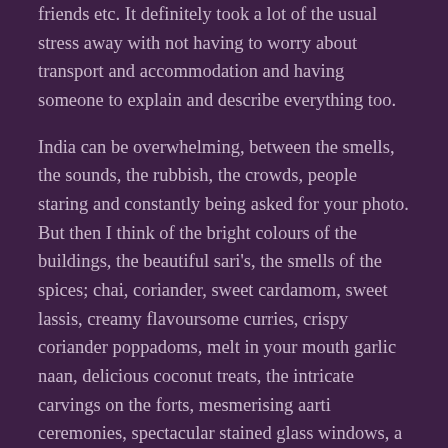friends etc. It definitely took a lot of the usual stress away with not having to worry about transport and accommodation and having someone to explain and describe everything too.
India can be overwhelming, between the smells, the sounds, the rubbish, the crowds, people staring and constantly being asked for your photo. But then I think of the bright colours of the buildings, the beautiful sari's, the smells of the spices; chai, coriander, sweet cardamom, sweet lassis, creamy flavoursome curries, crispy coriander poppadoms, melt in your mouth garlic naan, delicious coconut treats, the intricate carvings on the forts, mesmerising aarti ceremonies, spectacular stained glass windows, a starry night in the desert, helpful and friendly locals, curious children running and shouting hello, train rides and bus rides passing rice fields, palm trees, colourful yellow clothes amongst the millet plants, Bollywood music, the haunting sounds of the flute at sunrise and the rhythmic tabla, the list is endless.